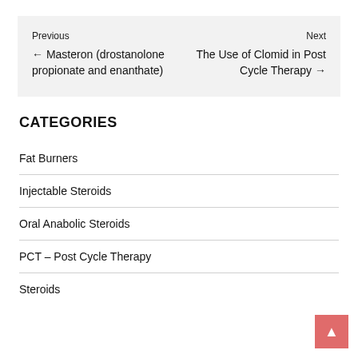Previous ← Masteron (drostanolone propionate and enanthate)
Next The Use of Clomid in Post Cycle Therapy →
CATEGORIES
Fat Burners
Injectable Steroids
Oral Anabolic Steroids
PCT – Post Cycle Therapy
Steroids